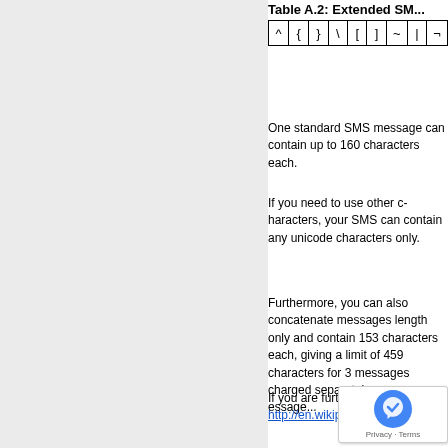Table A.2: Extended SM...
| ^ | { | } | \ | [ | ] | ~ | | | ¬ |
| --- | --- | --- | --- | --- | --- | --- | --- | --- |
One standard SMS mess... characters each.
If you need to use other c... SMS can contain any uni... characters only.
Furthermore, you can als... messages length only an... contain 153 characters ea... limit of 459 characters for... charged separately, so a m...
If you are furth... http://en.wikip...